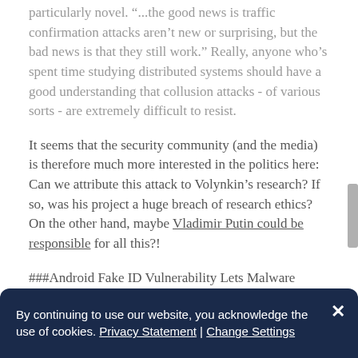particularly novel. "...the good news is traffic confirmation attacks aren't new or surprising, but the bad news is that they still work." Really, anyone who's spent time studying distributed systems should have a good understanding that collusion attacks - of various sorts - are extremely difficult to resist.
It seems that the security community (and the media) is therefore much more interested in the politics here: Can we attribute this attack to Volynkin's research? If so, was his project a huge breach of research ethics? On the other hand, maybe Vladimir Putin could be responsible for all this?!
###Android Fake ID Vulnerability Lets Malware
By continuing to use our website, you acknowledge the use of cookies. Privacy Statement | Change Settings